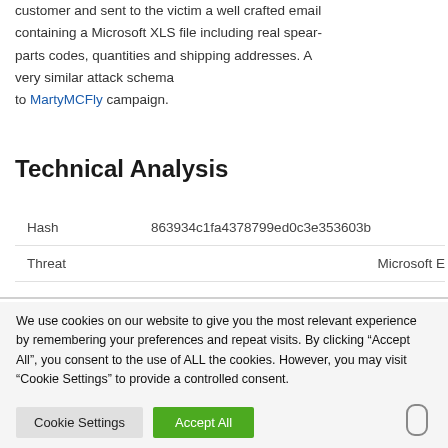customer and sent to the victim a well crafted email containing a Microsoft XLS file including real spear-parts codes, quantities and shipping addresses. A very similar attack schema to MartyMCFly campaign.
Technical Analysis
|  |  |
| --- | --- |
| Hash | 863934c1fa4378799ed0c3e353603b |
| Threat | Microsoft E |
We use cookies on our website to give you the most relevant experience by remembering your preferences and repeat visits. By clicking "Accept All", you consent to the use of ALL the cookies. However, you may visit "Cookie Settings" to provide a controlled consent.